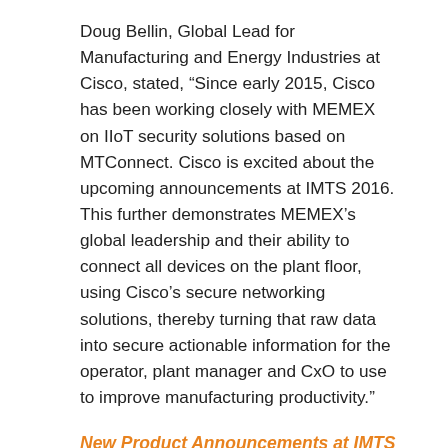Doug Bellin, Global Lead for Manufacturing and Energy Industries at Cisco, stated, “Since early 2015, Cisco has been working closely with MEMEX on IIoT security solutions based on MTConnect. Cisco is excited about the upcoming announcements at IMTS 2016. This further demonstrates MEMEX’s global leadership and their ability to connect all devices on the plant floor, using Cisco’s secure networking solutions, thereby turning that raw data into secure actionable information for the operator, plant manager and CxO to use to improve manufacturing productivity.”
New Product Announcements at IMTS 2016
On Monday September 12th, 2016 MEMEX will unveil MERLIN Tempus™ and MERLIN Tempus Enterprise Edition (EE). MERLIN Tempus is an open and extensible Manufacturing Execution System (MES) platform which offers the next generation of tools such as dynamic easily configurable dashboards and advanced reporting along